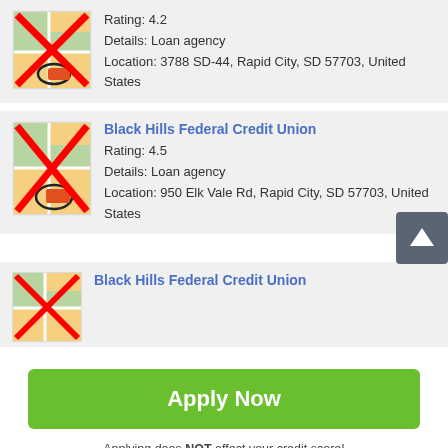[Figure (screenshot): Map icon with red X overlay and circled location marker - partial top card]
Rating: 4.2
Details: Loan agency
Location: 3788 SD-44, Rapid City, SD 57703, United States
[Figure (screenshot): Map icon with red X overlay and circled location marker - Black Hills Federal Credit Union card]
Black Hills Federal Credit Union
Rating: 4.5
Details: Loan agency
Location: 950 Elk Vale Rd, Rapid City, SD 57703, United States
[Figure (screenshot): Map icon with red X overlay - partial bottom card for Black Hills Federal Credit Union]
Black Hills Federal Credit Union
Apply Now
Applying does NOT affect your credit score!
No credit check to apply.